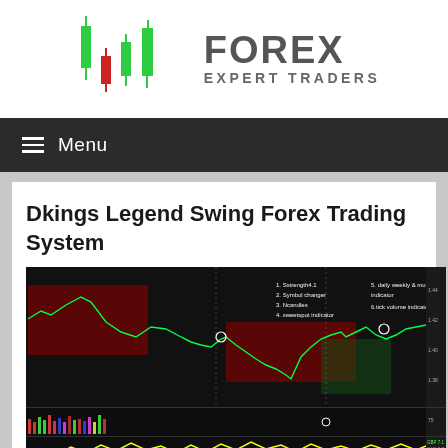[Figure (logo): Forex Expert Traders logo with candlestick chart icons (green and red candles) and text FOREX EXPERT TRADERS in dark gray]
Menu
Dkings Legend Swing Forex Trading System
[Figure (screenshot): Screenshot of a forex trading chart showing candlestick price action with red highlighted areas indicating sell zones and green price movement, with indicator panels below including volume and currency strength meters (GBP, CAD, JPY). Legend labels list: 1. Sstrength4.1, 2. Symbol changer, 3. Ncandles, 4. sweetspot indicator, 5. daily weekly & month indicator, 6. tick volume indicator]